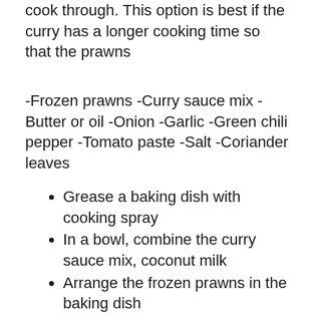cook through. This option is best if the curry has a longer cooking time so that the prawns
-Frozen prawns -Curry sauce mix -Butter or oil -Onion -Garlic -Green chili pepper -Tomato paste -Salt -Coriander leaves
Grease a baking dish with cooking spray
In a bowl, combine the curry sauce mix, coconut milk
Arrange the frozen prawns in the baking dish
Preheat oven to 350 degrees fahrenheit
-If cooking a frozen curry, it is best to thaw the prawns before adding them in. -Pour the